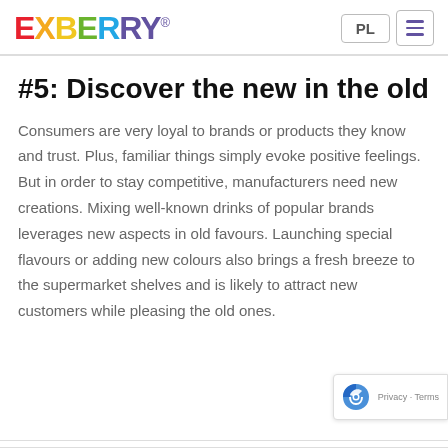EXBERRY® PL [menu]
#5: Discover the new in the old
Consumers are very loyal to brands or products they know and trust. Plus, familiar things simply evoke positive feelings. But in order to stay competitive, manufacturers need new creations. Mixing well-known drinks of popular brands leverages new aspects in old favours. Launching special flavours or adding new colours also brings a fresh breeze to the supermarket shelves and is likely to attract new customers while pleasing the old ones.
Privacy · Terms